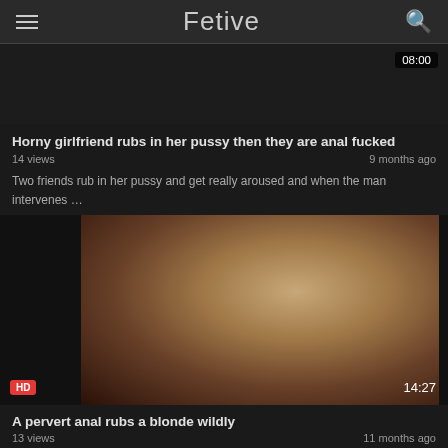Fetive
[Figure (screenshot): Video thumbnail - dark/black image with duration badge showing 08:00]
Horny girlfriend rubs in her pussy then they are anal fucked
14 views · 9 months ago
Two friends rub in her pussy and get really aroused and when the man intervenes …
[Figure (screenshot): Video thumbnail showing a blonde woman in red clothing, HD badge, duration 14:27]
A pervert anal rubs a blonde wildly
13 views · 11 months ago
A blonde leaves her ass rubbed hard in a wild anal sex game. He rubs her anal in …